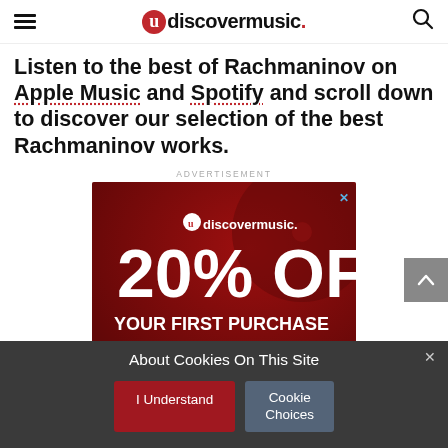uDiscoverMusic
Listen to the best of Rachmaninov on Apple Music and Spotify and scroll down to discover our selection of the best Rachmaninov works.
ADVERTISEMENT
[Figure (infographic): uDiscoverMusic advertisement banner showing 20% OFF YOUR FIRST PURCHASE USE CODE: UD20OFF on a red background with vinyl record imagery]
About Cookies On This Site
I Understand
Cookie Choices